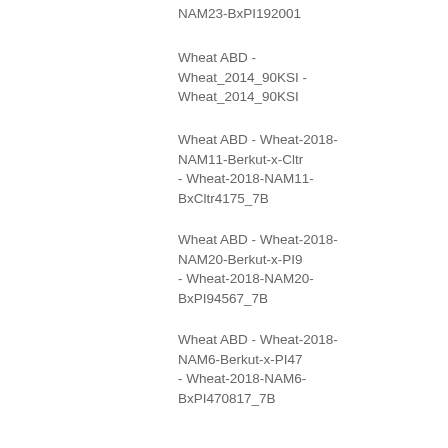NAM23-BxPI192001
Wheat ABD - Wheat_2014_90KSI - Wheat_2014_90KSI
Wheat ABD - Wheat-2018-NAM11-Berkut-x-Cltr - Wheat-2018-NAM11-BxCltr4175_7B
Wheat ABD - Wheat-2018-NAM20-Berkut-x-PI9 - Wheat-2018-NAM20-BxPI94567_7B
Wheat ABD - Wheat-2018-NAM6-Berkut-x-PI47 - Wheat-2018-NAM6-BxPI470817_7B
Wheat ABD - Wheat-2018-NAM26-Berkut-x-PI185715 - Wheat-2018-NAM26-BxPI185715
Wheat ABD - Wheat-2018-NAM30-Berkut-x-PI278297 - Wheat-2018-NAM30-BxPI278297
Wheat ABD - Wheat